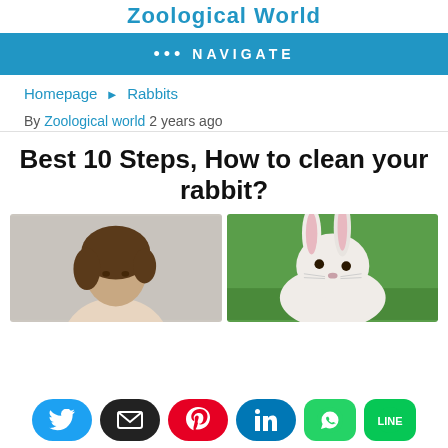Zoological World
••• NAVIGATE
Homepage ► Rabbits
By Zoological world 2 years ago
Best 10 Steps, How to clean your rabbit?
[Figure (photo): Photo of a young woman with curly brown hair]
[Figure (photo): Photo of a white rabbit with long floppy ears on green grass background]
[Figure (infographic): Social sharing buttons: Twitter, Email, Pinterest, LinkedIn, WhatsApp, LINE]